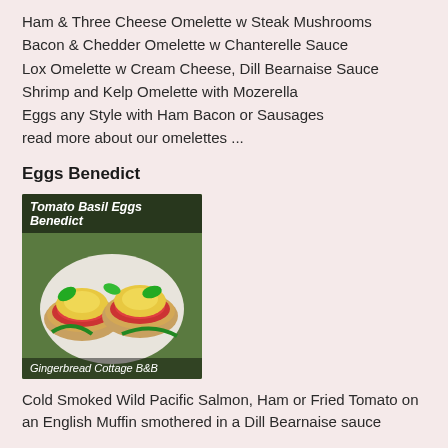Ham & Three Cheese Omelette w Steak Mushrooms
Bacon & Chedder Omelette w Chanterelle Sauce
Lox Omelette w Cream Cheese, Dill Bearnaise Sauce
Shrimp and Kelp Omelette with Mozerella
Eggs any Style with Ham Bacon or Sausages
read more about our omelettes ...
Eggs Benedict
[Figure (photo): Photo of Tomato Basil Eggs Benedict dish on a plate with hollandaise sauce, captioned 'Gingerbread Cottage B&B']
Cold Smoked Wild Pacific Salmon, Ham or Fried Tomato on an English Muffin smothered in a Dill Bearnaise sauce
Bratwurst in Red Wine Sauce w Scrambled Eggs
Ayrshire Bacon and Eggs (on availability)
All main Courses served with Butter Fried Pan Potatoes spiced with